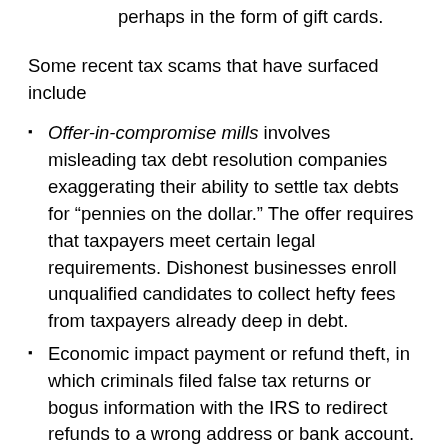request that the money be returned immediately, perhaps in the form of gift cards.
Some recent tax scams that have surfaced include
Offer-in-compromise mills involves misleading tax debt resolution companies exaggerating their ability to settle tax debts for “pennies on the dollar.” The offer requires that taxpayers meet certain legal requirements. Dishonest businesses enroll unqualified candidates to collect hefty fees from taxpayers already deep in debt.
Economic impact payment or refund theft, in which criminals filed false tax returns or bogus information with the IRS to redirect refunds to a wrong address or bank account.
Social media scams may use COVID-19 to trick people. The scammer uses information on social media to send emails pretending to be a family member